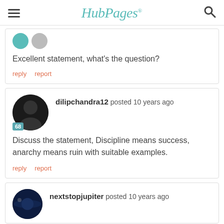HubPages
Excellent statement, what's the question?
reply   report
dilipchandra12 posted 10 years ago
Discuss the statement, Discipline means success, anarchy means ruin with suitable examples.
reply   report
nextstopjupiter posted 10 years ago